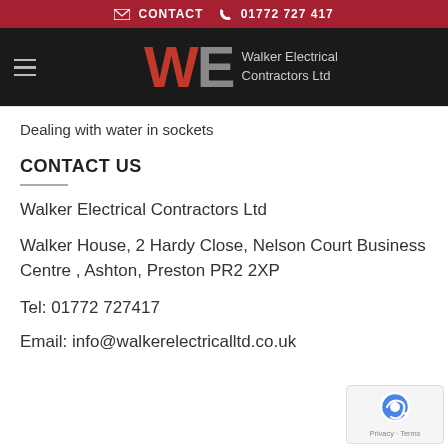CONTACT  01772 727 417
[Figure (logo): Walker Electrical Contractors Ltd logo with red W and grey E letters on dark background]
Dealing with water in sockets
CONTACT US
Walker Electrical Contractors Ltd
Walker House, 2 Hardy Close, Nelson Court Business Centre , Ashton, Preston PR2 2XP
Tel: 01772 727417
Email: info@walkerelectricalltd.co.uk